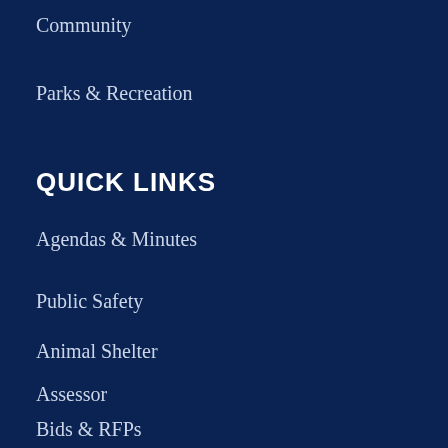Community
Parks & Recreation
QUICK LINKS
Agendas & Minutes
Public Safety
Animal Shelter
Assessor
Bids & RFPs
Community Alerts